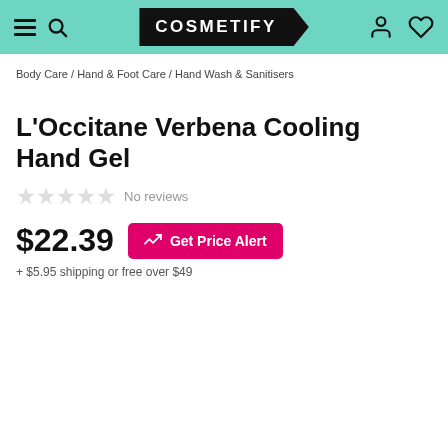COSMETIFY
Body Care / Hand & Foot Care / Hand Wash & Sanitisers
L'Occitane Verbena Cooling Hand Gel
No reviews
$22.39
Get Price Alert
+ $5.95 shipping or free over $49